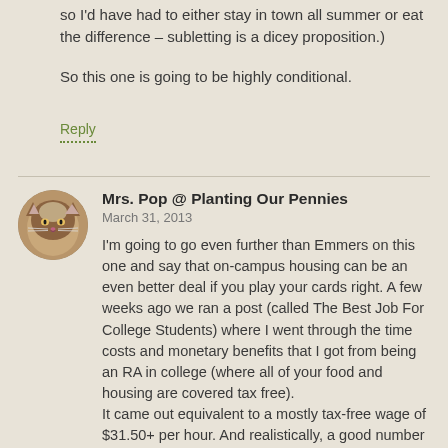so I'd have had to either stay in town all summer or eat the difference – subletting is a dicey proposition.)
So this one is going to be highly conditional.
Reply
Mrs. Pop @ Planting Our Pennies
March 31, 2013
I'm going to go even further than Emmers on this one and say that on-campus housing can be an even better deal if you play your cards right. A few weeks ago we ran a post (called The Best Job For College Students) where I went through the time costs and monetary benefits that I got from being an RA in college (where all of your food and housing are covered tax free). It came out equivalent to a mostly tax-free wage of $31.50+ per hour. And realistically, a good number of those hours were spent sitting on my tush either socializing with friends that lived in my building or doing my homework while sitting in the hall office manning the phone (which virtually never rang). So actual